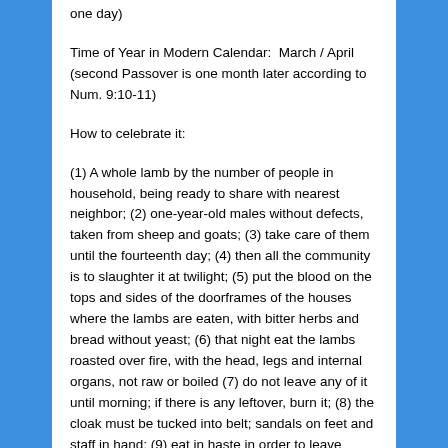one day)
Time of Year in Modern Calendar:  March / April (second Passover is one month later according to Num. 9:10-11)
How to celebrate it:
(1) A whole lamb by the number of people in household, being ready to share with nearest neighbor; (2) one-year-old males without defects, taken from sheep and goats; (3) take care of them until the fourteenth day; (4) then all the community is to slaughter it at twilight; (5) put the blood on the tops and sides of the doorframes of the houses where the lambs are eaten, with bitter herbs and bread without yeast; (6) that night eat the lambs roasted over fire, with the head, legs and internal organs, not raw or boiled (7) do not leave any of it until morning; if there is any leftover, burn it; (8) the cloak must be tucked into belt; sandals on feet and staff in hand; (9) eat in haste in order to leave Egypt soon (Exod. 12:4-11).
Purpose: Exodus from Egypt and Protection from